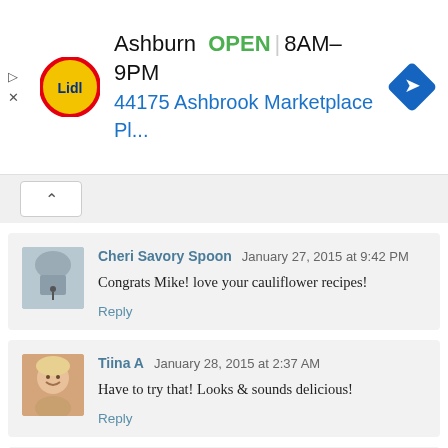[Figure (other): Lidl grocery store advertisement banner showing store location in Ashburn, open hours 8AM-9PM, and address 44175 Ashbrook Marketplace Pl...]
Cheri Savory Spoon January 27, 2015 at 9:42 PM
Congrats Mike! love your cauliflower recipes!
Reply
Tiina A January 28, 2015 at 2:37 AM
Have to try that! Looks & sounds delicious!
Reply
A January 28, 2015 at 4:33 AM